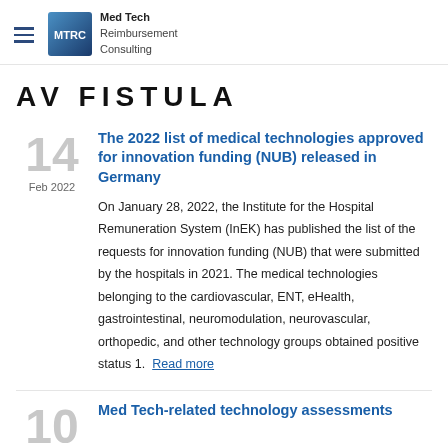Med Tech Reimbursement Consulting
AV FISTULA
14
Feb 2022
The 2022 list of medical technologies approved for innovation funding (NUB) released in Germany
On January 28, 2022, the Institute for the Hospital Remuneration System (InEK) has published the list of the requests for innovation funding (NUB) that were submitted by the hospitals in 2021. The medical technologies belonging to the cardiovascular, ENT, eHealth, gastrointestinal, neuromodulation, neurovascular, orthopedic, and other technology groups obtained positive status 1. Read more
Med Tech-related technology assessments